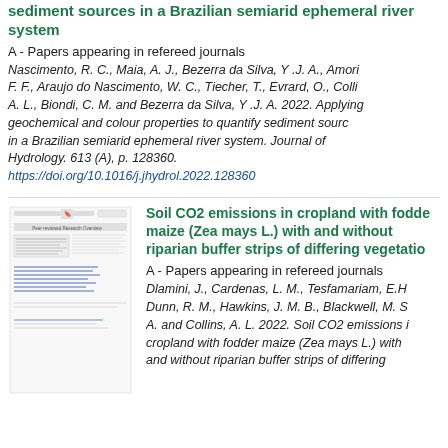sediment sources in a Brazilian semiarid ephemeral river system
A - Papers appearing in refereed journals
Nascimento, R. C., Maia, A. J., Bezerra da Silva, Y.J. A., Amori F. F., Araujo do Nascimento, W. C., Tiecher, T., Evrard, O., Colli A. L., Biondi, C. M. and Bezerra da Silva, Y.J. A. 2022. Applying geochemical and colour properties to quantify sediment sources in a Brazilian semiarid ephemeral river system. Journal of Hydrology. 613 (A), p. 128360. https://doi.org/10.1016/j.jhydrol.2022.128360
[Figure (other): Thumbnail image of a journal article page with text and blue underlined links]
Soil CO2 emissions in cropland with fodder maize (Zea mays L.) with and without riparian buffer strips of differing vegetation
A - Papers appearing in refereed journals
Dlamini, J., Cardenas, L. M., Tesfamariam, E.H., Dunn, R. M., Hawkins, J. M. B., Blackwell, M. S. A. and Collins, A. L. 2022. Soil CO2 emissions in cropland with fodder maize (Zea mays L.) with and without riparian buffer strips of differing